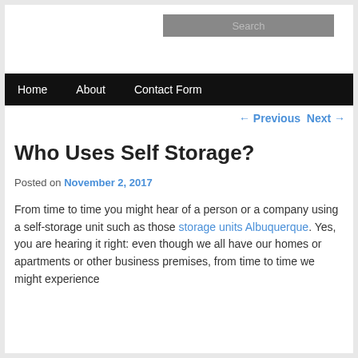Search
Home  About  Contact Form
← Previous  Next →
Who Uses Self Storage?
Posted on November 2, 2017
From time to time you might hear of a person or a company using a self-storage unit such as those storage units Albuquerque. Yes, you are hearing it right: even though we all have our homes or apartments or other business premises, from time to time we might experience